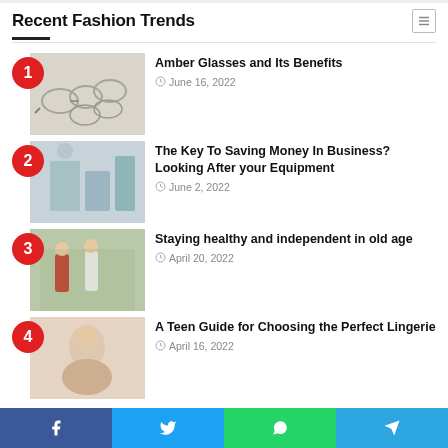Recent Fashion Trends
Amber Glasses and Its Benefits
The Key To Saving Money In Business? Looking After your Equipment
Staying healthy and independent in old age
A Teen Guide for Choosing the Perfect Lingerie
Facebook | Twitter | WhatsApp | Telegram